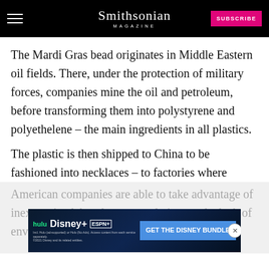Smithsonian MAGAZINE | SUBSCRIBE
The Mardi Gras bead originates in Middle Eastern oil fields. There, under the protection of military forces, companies mine the oil and petroleum, before transforming them into polystyrene and polyethelene – the main ingredients in all plastics.
The plastic is then shipped to China to be fashioned into necklaces – to factories where
American companies are able to take advantage of inexpensive labor, looser regulations and a lack of environmental oversight.
[Figure (screenshot): Disney Bundle advertisement banner showing Hulu, Disney+, and ESPN+ logos with 'GET THE DISNEY BUNDLE' call-to-action button]